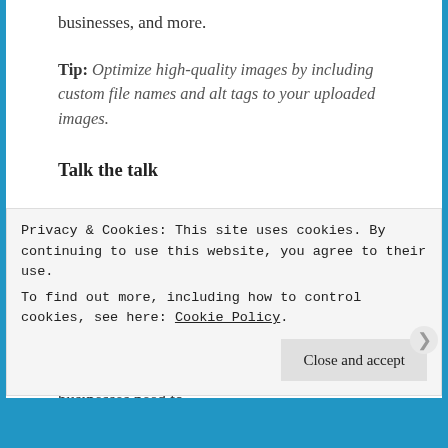businesses, and more.
Tip: Optimize high-quality images by including custom file names and alt tags to your uploaded images.
Talk the talk
One SEO trend that will remain strong in 2022 and the next couple of years is voice search. With voice assistants like Google Home, Alexa, and Siri infiltrating our homes and the rise in voice-activated devices, it’s safe to say that an increasing number of people are using voice to conduct searches today. To feed this demand, businesses need to
Privacy & Cookies: This site uses cookies. By continuing to use this website, you agree to their use.
To find out more, including how to control cookies, see here: Cookie Policy
Close and accept